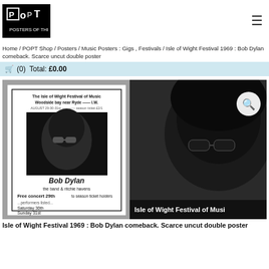POPT logo and hamburger menu
Home / POPT Shop / Posters / Music Posters : Gigs , Festivals / Isle of Wight Festival 1969 : Bob Dylan comeback. Scarce uncut double poster
🛒 (0) Total: £0.00
[Figure (photo): Product photo showing an uncut double poster for the Isle of Wight Festival of Music 1969 featuring Bob Dylan. Left side shows the original poster with Bob Dylan's face portrait, text reading 'The Isle of Wight Festival of Music Woodside bay near Ryde', 'Bob Dylan', 'the band & ritchie havens', 'Free concert 29th to season ticket holders', 'Saturday 30th', 'Sunday 31st'. Right side shows a large close-up black and white photo of Bob Dylan wearing sunglasses with text 'Isle of Wight Festival of Music' at bottom.]
Isle of Wight Festival 1969 : Bob Dylan comeback. Scarce uncut double poster